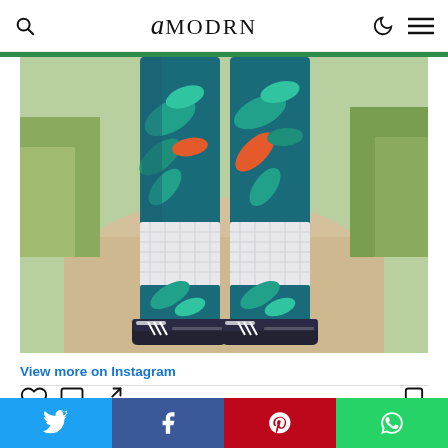amodrn
[Figure (photo): Legs of a person wearing tropical print leggings with white mesh knee cutouts and dark sneakers, standing on a sandy path with green grasses in background]
View more on Instagram
[Figure (infographic): Instagram action icons: heart (like), comment bubble, share arrow, and bookmark]
100 lik…
Twitter | Facebook | Pinterest | WhatsApp social share buttons